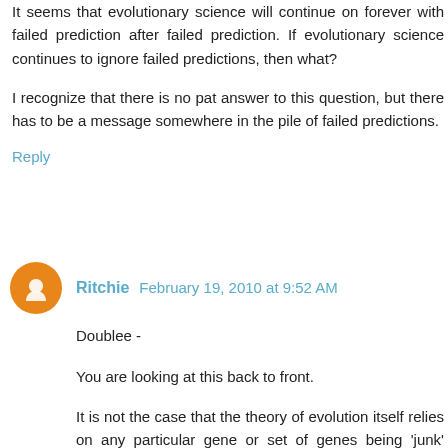It seems that evolutionary science will continue on forever with failed prediction after failed prediction. If evolutionary science continues to ignore failed predictions, then what?
I recognize that there is no pat answer to this question, but there has to be a message somewhere in the pile of failed predictions.
Reply
Ritchie  February 19, 2010 at 9:52 AM
Doublee -
You are looking at this back to front.
It is not the case that the theory of evolution itself relies on any particular gene or set of genes being 'junk' which has then show to have a function.
If this was the case, you would indeed be right.